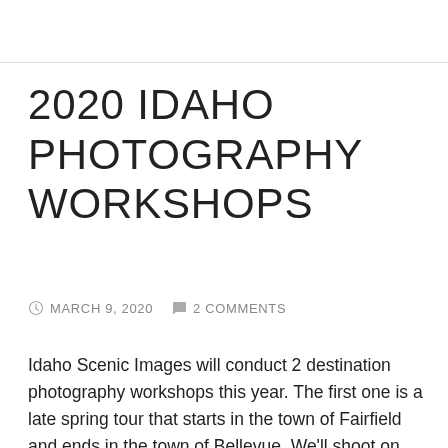2020 IDAHO PHOTOGRAPHY WORKSHOPS
MARCH 9, 2020   2 COMMENTS
Idaho Scenic Images will conduct 2 destination photography workshops this year. The first one is a late spring tour that starts in the town of Fairfield and ends in the town of Bellevue. We'll shoot on the Centennial Marsh and hope for a sea of blue camas lilies, visit the Little City of Rocks, and photograph a variety of old barns and buildings that dot the prairie. Next we'll move on to the Wood River Valley for scenic vistas, winding rivers, more wildflowers and mountain views.